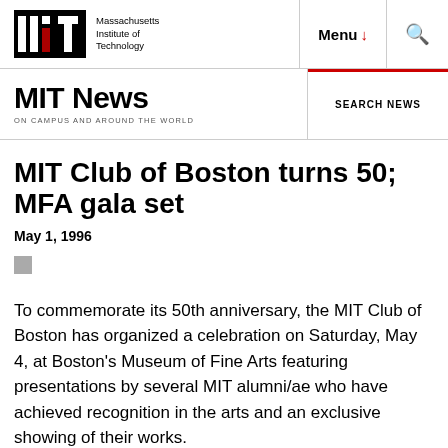Massachusetts Institute of Technology | Menu | Search
MIT News ON CAMPUS AND AROUND THE WORLD
SEARCH NEWS
MIT Club of Boston turns 50; MFA gala set
May 1, 1996
To commemorate its 50th anniversary, the MIT Club of Boston has organized a celebration on Saturday, May 4, at Boston's Museum of Fine Arts featuring presentations by several MIT alumni/ae who have achieved recognition in the arts and an exclusive showing of their works.